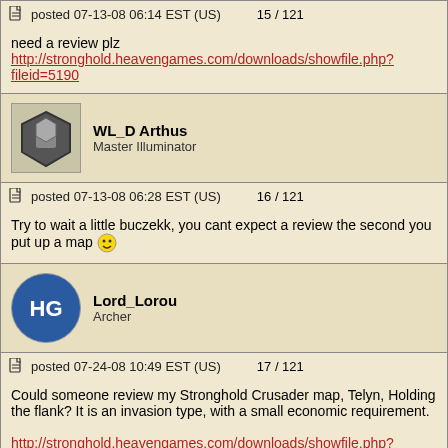posted 07-13-08 06:14 EST (US)   15 / 121
need a review plz
http://stronghold.heavengames.com/downloads/showfile.php?fileid=5190
WL_D Arthus
Master Illuminator
posted 07-13-08 06:28 EST (US)   16 / 121
Try to wait a little buczekk, you cant expect a review the second you put up a map :)
Lord_Lorou
Archer
posted 07-24-08 10:49 EST (US)   17 / 121
Could someone review my Stronghold Crusader map, Telyn, Holding the flank? It is an invasion type, with a small economic requirement.

http://stronghold.heavengames.com/downloads/showfile.php?fileid=5220

Lord_Lorou
Fintrollx
Archer